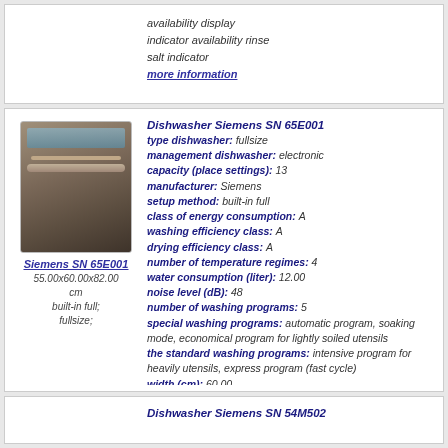availability display
indicator availability rinse
salt indicator
more information
[Figure (photo): Siemens SN 65E001 built-in full-size dishwasher, dark brown/wood-look front panel]
Siemens SN 65E001
55.00x60.00x82.00 cm
built-in full;
fullsize;
Dishwasher Siemens SN 65E001
type dishwasher: fullsize
management dishwasher: electronic
capacity (place settings): 13
manufacturer: Siemens
setup method: built-in full
class of energy consumption: A
washing efficiency class: A
drying efficiency class: A
number of temperature regimes: 4
water consumption (liter): 12.00
noise level (dB): 48
number of washing programs: 5
special washing programs: automatic program, soaking mode, economical program for lightly soiled utensils
the standard washing programs: intensive program for heavily utensils, express program (fast cycle)
width (cm): 60.00
depth (cm): 55.00
height (cm): 82.00
protection against leaks
more information
Dishwasher Siemens SN 54M502